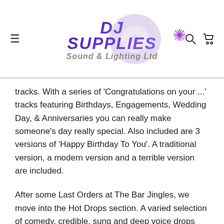DJ Supplies Sound & Lighting Ltd
tracks. With a series of 'Congratulations on your ...' tracks featuring Birthdays, Engagements, Wedding Day, & Anniversaries you can really make someone's day really special. Also included are 3 versions of 'Happy Birthday To You'. A traditional version, a modern version and a terrible version are included.
After some Last Orders at The Bar Jingles, we move into the Hot Drops section. A varied selection of comedy, credible, sung and deep voice drops give many options to DJ's.
A small selection of radio station jingles leads to the Sound Effects and Music Beds Section. Fanfares, Applause, Explosions, Screams, &